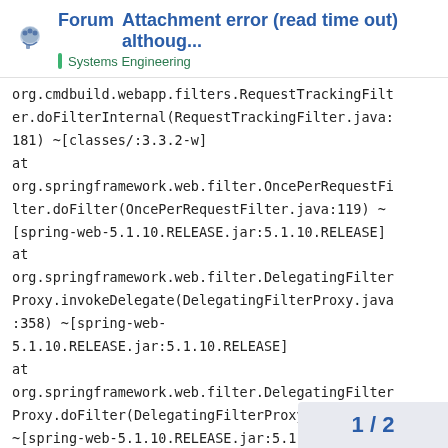Forum — Attachment error (read time out) althoug... | Systems Engineering
org.cmdbuild.webapp.filters.RequestTrackingFilter.doFilterInternal(RequestTrackingFilter.java:181) ~[classes/:3.3.2-w]
at
org.springframework.web.filter.OncePerRequestFilter.doFilter(OncePerRequestFilter.java:119) ~[spring-web-5.1.10.RELEASE.jar:5.1.10.RELEASE]
at
org.springframework.web.filter.DelegatingFilterProxy.invokeDelegate(DelegatingFilterProxy.java:358) ~[spring-web-5.1.10.RELEASE.jar:5.1.10.RELEASE]
at
org.springframework.web.filter.DelegatingFilterProxy.doFilter(DelegatingFilterProxy.java:271) ~[spring-web-5.1.10.RELEASE.jar:5.1.10.RELEASE]
at
1 / 2